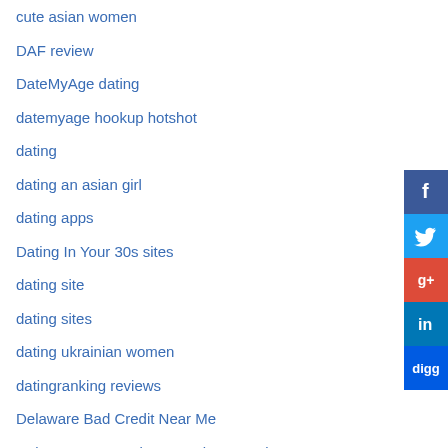cute asian women
DAF review
DateMyAge dating
datemyage hookup hotshot
dating
dating an asian girl
dating apps
Dating In Your 30s sites
dating site
dating sites
dating ukrainian women
datingranking reviews
Delaware Bad Credit Near Me
Delaware Personal Loans Direct Lenders
[Figure (infographic): Social sharing sidebar with Facebook, Twitter, Google+, LinkedIn, and Digg buttons]